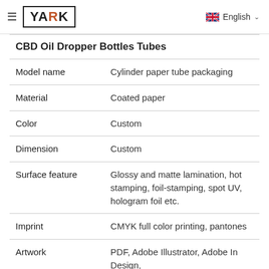≡  YARK   English
| CBD Oil Dropper Bottles Tubes |  |
| --- | --- |
| Model name | Cylinder paper tube packaging |
| Material | Coated paper |
| Color | Custom |
| Dimension | Custom |
| Surface feature | Glossy and matte lamination, hot stamping, foil-stamping, spot UV, hologram foil etc. |
| Imprint | CMYK full color printing, pantones |
| Artwork | PDF, Adobe Illustrator, Adobe In Design, |